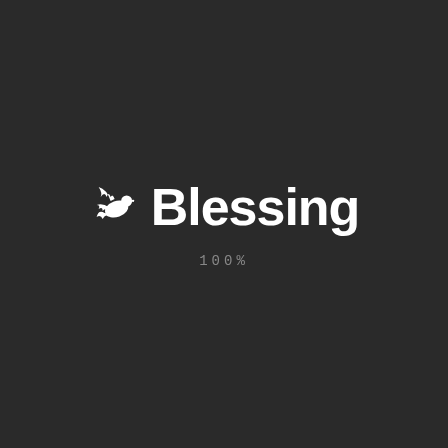[Figure (logo): White dove/bird icon flying, used as part of the Blessing brand logo]
Blessing
100%